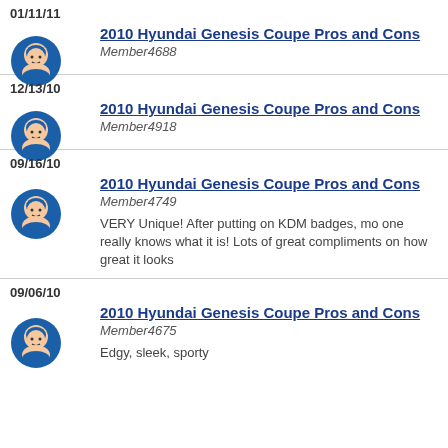01/11/11
2010 Hyundai Genesis Coupe Pros and Cons
Member4688
12/13/10
2010 Hyundai Genesis Coupe Pros and Cons
Member4918
09/16/10
2010 Hyundai Genesis Coupe Pros and Cons
Member4749
VERY Unique! After putting on KDM badges, mo one really knows what it is! Lots of great compliments on how great it looks
09/06/10
2010 Hyundai Genesis Coupe Pros and Cons
Member4675
Edgy, sleek, sporty